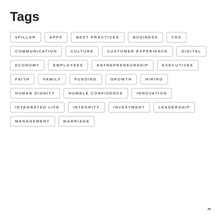Tags
3PILLAR
APPS
BEST PRACTICES
BUSINESS
CES
COMMUNICATION
CULTURE
CUSTOMER EXPERIENCE
DIGITAL
ECONOMY
EMPLOYEES
ENTREPRENEURSHIP
EXECUTIVES
FAITH
FAMILY
FUNDING
GROWTH
HIRING
HUMAN DIGNITY
HUMBLE CONFIDENCE
INNOVATION
INTEGRATED LIFE
INTEGRITY
INVESTMENT
LEADERSHIP
MANAGEMENT
MARRIAGE